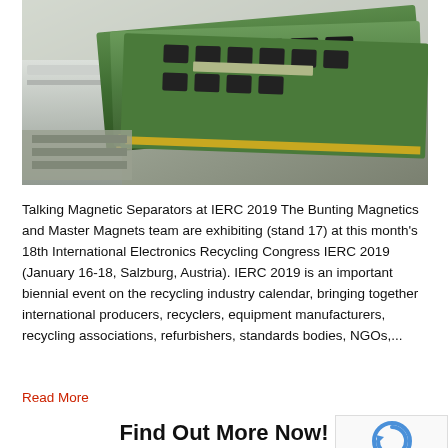[Figure (photo): Close-up photo of green computer RAM / memory modules stacked and fanned out on a metallic surface]
Talking Magnetic Separators at IERC 2019 The Bunting Magnetics and Master Magnets team are exhibiting (stand 17) at this month's 18th International Electronics Recycling Congress IERC 2019 (January 16-18, Salzburg, Austria). IERC 2019 is an important biennial event on the recycling industry calendar, bringing together international producers, recyclers, equipment manufacturers, recycling associations, refurbishers, standards bodies, NGOs,...
Read More
Find Out More Now!
Please do not hesitate to contact us; Our professional te... on hand to give you expert advice and guidance for your